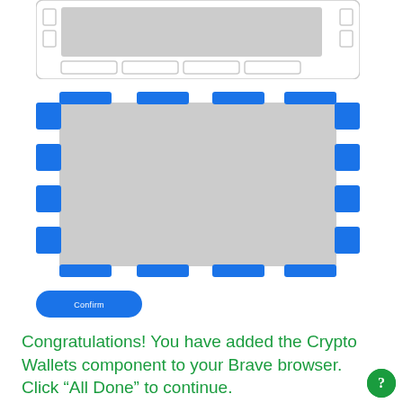[Figure (screenshot): Top UI widget with grey placeholder image area and white border slots, light grey border, rounded rectangle card style]
[Figure (screenshot): Larger UI widget with blue dashed border segments around a grey rectangle placeholder image area, indicating a selected/active state]
[Figure (screenshot): Blue rounded pill Confirm button]
Congratulations!  You have added the Crypto Wallets component to your Brave browser.  Click “All Done” to continue.